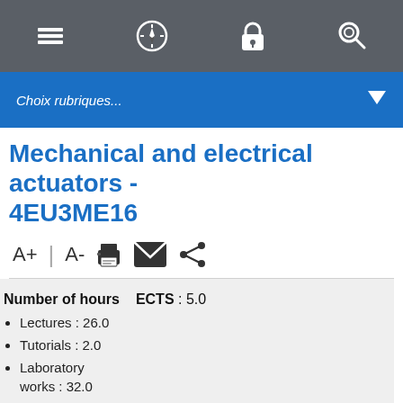[Figure (screenshot): Navigation bar with menu, compass, lock, and search icons on dark grey background]
[Figure (screenshot): Blue dropdown bar with italic text 'Choix rubriques...' and a white down-arrow triangle on the right]
Mechanical and electrical actuators - 4EU3ME16
[Figure (screenshot): Toolbar with A+, A-, print, email, and share icons]
Number of hours   ECTS : 5.0
Lectures : 26.0
Tutorials : 2.0
Laboratory works : 32.0
Projects : -